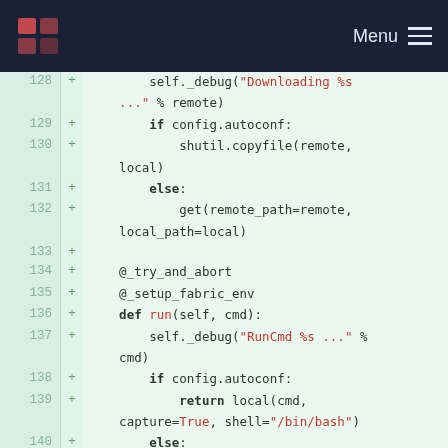Menu
[Figure (screenshot): Code diff viewer showing Python code lines 128-142 with green added lines, red strings highlighted, bold keywords, on a light green background with dark navy header bar.]